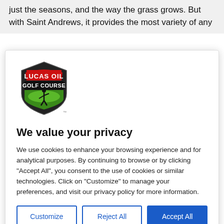just the seasons, and the way the grass grows. But with Saint Andrews, it provides the most variety of any
[Figure (logo): Lucas Oil Golf Course shield logo with red banner at top reading 'LUCAS OIL', black banner reading 'GOLF COURSE', and green golf course with golfer silhouette at bottom]
We value your privacy
We use cookies to enhance your browsing experience and for analytical purposes. By continuing to browse or by clicking "Accept All", you consent to the use of cookies or similar technologies. Click on "Customize" to manage your preferences, and visit our privacy policy for more information.
Customize
Reject All
Accept All